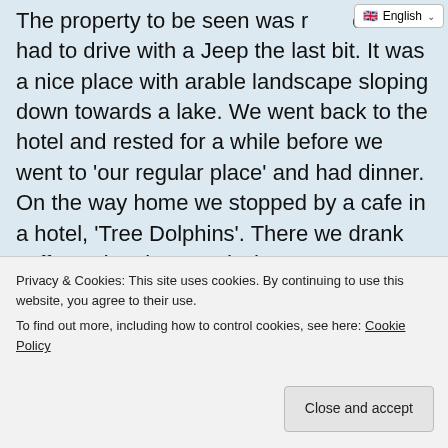The property to be seen was r…o we had to drive with a Jeep the last bit. It was a nice place with arable landscape sloping down towards a lake. We went back to the hotel and rested for a while before we went to 'our regular place' and had dinner. On the way home we stopped by a cafe in a hotel, 'Tree Dolphins'. There we drank coffee, wine, beer and whatever. Cozy little place.
[Figure (photo): Outdoor photo showing greenery, wooden panels, and a doorway area]
Wednesday
relaxed
Privacy & Cookies: This site uses cookies. By continuing to use this website, you agree to their use.
To find out more, including how to control cookies, see here: Cookie Policy
Close and accept